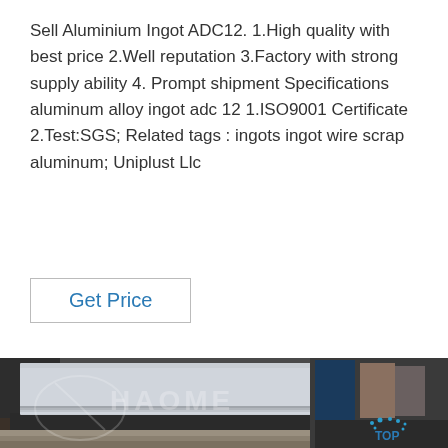Sell Aluminium Ingot ADC12. 1.High quality with best price 2.Well reputation 3.Factory with strong supply ability 4. Prompt shipment Specifications aluminum alloy ingot adc 12 1.ISO9001 Certificate 2.Test:SGS; Related tags : ingots ingot wire scrap aluminum; Uniplust Llc
Get Price
[Figure (photo): Photo of stacked aluminium ingots/sheets in metal trays, with HAOME watermark text and a blue TOP logo in the lower right corner.]